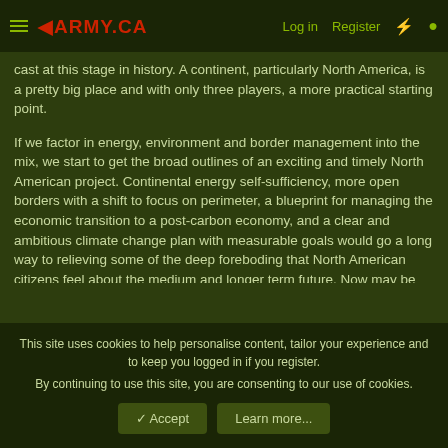1ARMY.CA   Log in   Register
cast at this stage in history. A continent, particularly North America, is a pretty big place and with only three players, a more practical starting point.
If we factor in energy, environment and border management into the mix, we start to get the broad outlines of an exciting and timely North American project. Continental energy self-sufficiency, more open borders with a shift to focus on perimeter, a blueprint for managing the economic transition to a post-carbon economy, and a clear and ambitious climate change plan with measurable goals would go a long way to relieving some of the deep foreboding that North American citizens feel about the medium and longer term future. Now may be the time to transcend our narcissism of small difference and to engage our American friends in a bold new North American project that
This site uses cookies to help personalise content, tailor your experience and to keep you logged in if you register.
By continuing to use this site, you are consenting to our use of cookies.